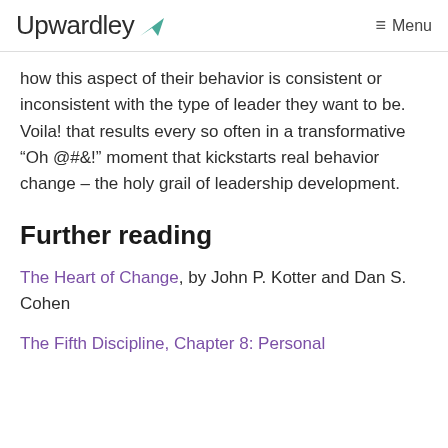Upwardley  ≡ Menu
how this aspect of their behavior is consistent or inconsistent with the type of leader they want to be. Voila! that results every so often in a transformative “Oh @#&!” moment that kickstarts real behavior change – the holy grail of leadership development.
Further reading
The Heart of Change, by John P. Kotter and Dan S. Cohen
The Fifth Discipline, Chapter 8: Personal